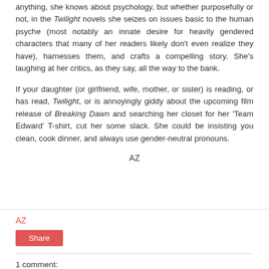anything, she knows about psychology, but whether purposefully or not, in the Twilight novels she seizes on issues basic to the human psyche (most notably an innate desire for heavily gendered characters that many of her readers likely don't even realize they have), harnesses them, and crafts a compelling story. She's laughing at her critics, as they say, all the way to the bank.
If your daughter (or girlfriend, wife, mother, or sister) is reading, or has read, Twilight, or is annoyingly giddy about the upcoming film release of Breaking Dawn and searching her closet for her 'Team Edward' T-shirt, cut her some slack. She could be insisting you clean, cook dinner, and always use gender-neutral pronouns.
AZ
AZ
Share
1 comment: